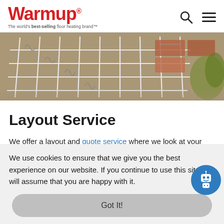Warmup® — The world's best-selling floor heating brand™
[Figure (photo): Aerial view of floor heating cable installation on concrete slab with steel mesh grid, bricks and foliage visible in background]
Layout Service
We offer a layout and quote service where we look at your floor plans and give you the details for the right products and pricing for your project within 24 hours. This service is available no matter how big or small your project is.
We use cookies to ensure that we give you the best experience on our website. If you continue to use this site we will assume that you are happy with it.
Got It!